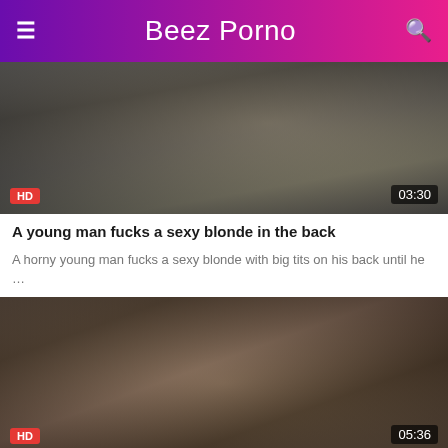Beez Porno
[Figure (screenshot): Video thumbnail showing a blonde woman, with HD badge and 03:30 duration overlay]
A young man fucks a sexy blonde in the back
A horny young man fucks a sexy blonde with big tits on his back until he …
[Figure (screenshot): Video thumbnail showing a man carrying a woman outdoors near a staircase, with HD badge and 05:36 duration overlay]